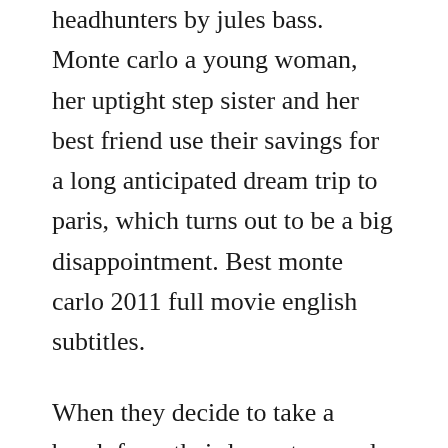headhunters by jules bass. Monte carlo a young woman, her uptight step sister and her best friend use their savings for a long anticipated dream trip to paris, which turns out to be a big disappointment. Best monte carlo 2011 full movie english subtitles.
When they decide to take a break from their lousy tour and duck into the lobby of a luxury hotel, one of them is mistaken for a spoiled british heiress. This quick synopsis of deadly mile high club is an actu. When they decide to take a break from their lousy tour and duck